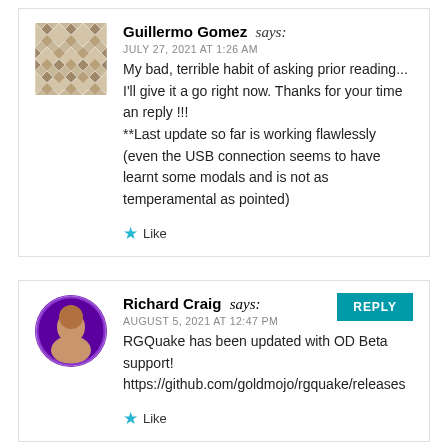[Figure (illustration): Geometric diamond/quilt pattern avatar for Guillermo Gomez in tan/brown colors]
Guillermo Gomez says:
JULY 27, 2021 AT 1:26 AM
My bad, terrible habit of asking prior reading... I'll give it a go right now. Thanks for your time an reply !!!
**Last update so far is working flawlessly (even the USB connection seems to have learnt some modals and is not as temperamental as pointed)
Like
[Figure (photo): Circular profile photo of Richard Craig with purple border]
Richard Craig says:
AUGUST 5, 2021 AT 12:47 PM
RGQuake has been updated with OD Beta support!
https://github.com/goldmojo/rgquake/releases
Like